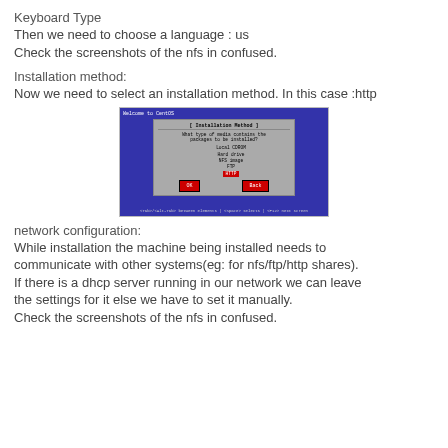Keyboard Type
Then we need to choose a language : us
Check the screenshots of the nfs in confused.
Installation method:
Now we need to select an installation method. In this case :http
[Figure (screenshot): CentOS installation method selection screen showing a blue terminal UI with a dialog box titled 'Installation Method'. The dialog asks 'What type of media contains the packages to be installed?' with options: Local CDROM, Hard drive, NFS image, FTP, HTTP (selected/highlighted in red). Two buttons: OK and Back. Footer shows keyboard navigation hints.]
network configuration:
While installation the machine being installed needs to communicate with other systems(eg: for nfs/ftp/http shares). If there is a dhcp server running in our network we can leave the settings for it else we have to set it manually. Check the screenshots of the nfs in confused.